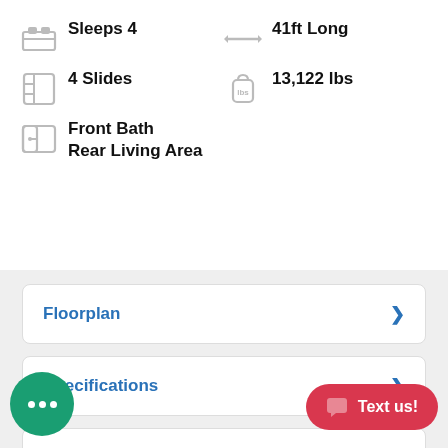Sleeps 4
41ft Long
4 Slides
13,122 lbs
Front Bath
Rear Living Area
Floorplan
Specifications
Description
atures
Factory Brochure